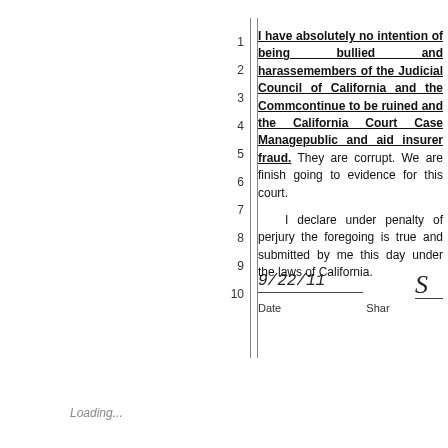I have absolutely no intention of being bullied and harassed members of the Judicial Council of California and the Comm continue to be ruined and the California Court Case Manage public and aid insurer fraud. They are corrupt. We are finish going to evidence for this court.
I declare under penalty of perjury the foregoing is true and submitted by me this day under the laws of California.
[Figure (other): Handwritten signature with date 9/22/11 and partial signature S at the right]
Date    Shar
Loading...